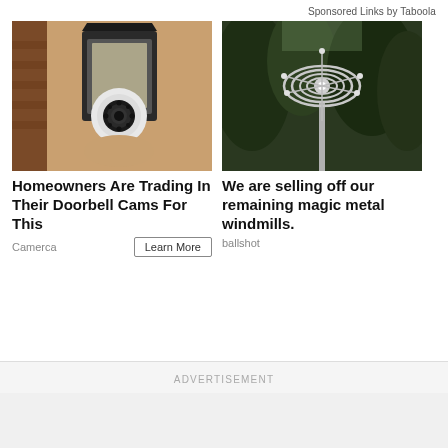Sponsored Links by Taboola
[Figure (photo): Outdoor wall lantern light fixture with a security camera installed inside it, mounted on a textured stucco wall]
[Figure (photo): Decorative metal kinetic wind spinner windmill sculpture on a pole against a background of trees]
Homeowners Are Trading In Their Doorbell Cams For This
We are selling off our remaining magic metal windmills.
Camerca
Learn More
ballshot
ADVERTISEMENT